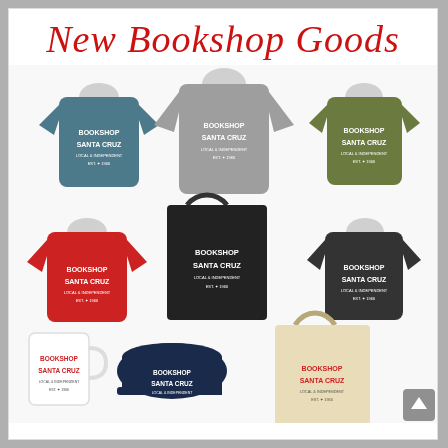New Bookshop Goods
[Figure (photo): Collage of Bookshop Santa Cruz branded merchandise including multiple t-shirts in teal, red, olive, and dark colors; a gray long-sleeve sweatshirt; two tote bags (one black, one natural canvas); a navy baseball cap; and a white ceramic mug, all featuring the Bookshop Santa Cruz logo text 'BOOKSHOP SANTA CRUZ LOCAL & INDEPENDENT EST. 1966']